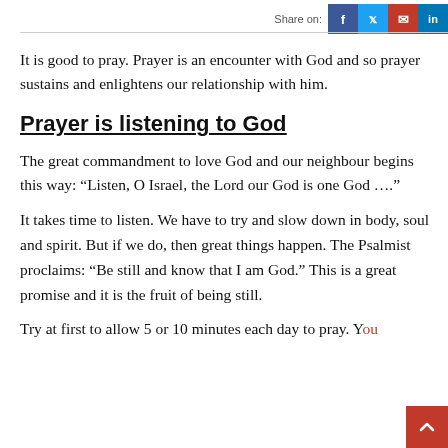Share on: f  t  email  in
It is good to pray. Prayer is an encounter with God and so prayer sustains and enlightens our relationship with him.
Prayer is listening to God
The great commandment to love God and our neighbour begins this way: “Listen, O Israel, the Lord our God is one God ….”
It takes time to listen. We have to try and slow down in body, soul and spirit. But if we do, then great things happen. The Psalmist proclaims: “Be still and know that I am God.” This is a great promise and it is the fruit of being still.
Try at first to allow 5 or 10 minutes each day to pray. You